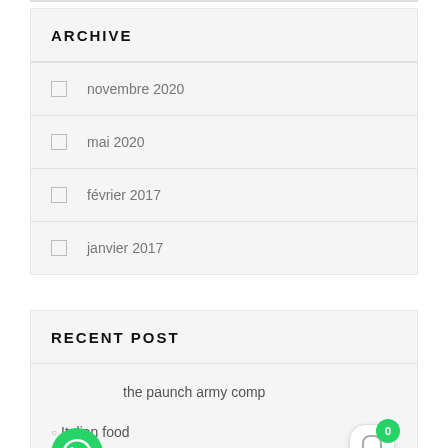ARCHIVE
novembre 2020
mai 2020
février 2017
janvier 2017
RECENT POST
the paunch army comp
Italian food